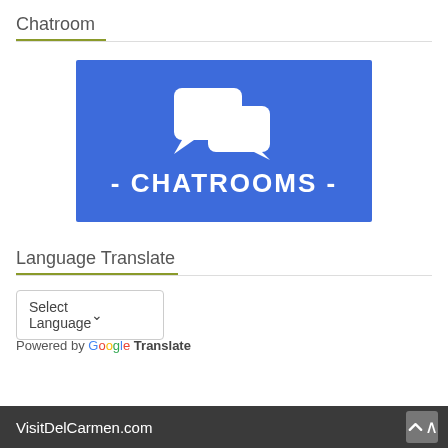Chatroom
[Figure (logo): Blue rectangular banner with two white chat bubble icons and bold white text reading '- CHATROOMS -' on a blue background]
Language Translate
Select Language (dropdown)
Powered by Google Translate
VisitDelCarmen.com